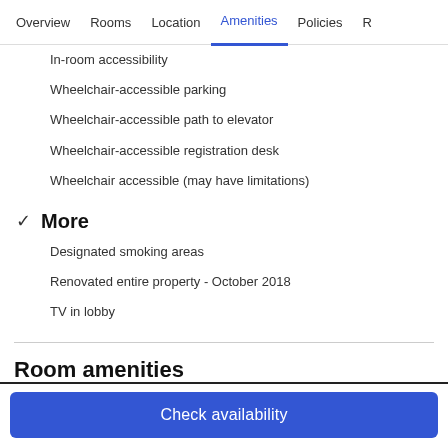Overview  Rooms  Location  Amenities  Policies  R
In-room accessibility
Wheelchair-accessible parking
Wheelchair-accessible path to elevator
Wheelchair-accessible registration desk
Wheelchair accessible (may have limitations)
✓ More
Designated smoking areas
Renovated entire property - October 2018
TV in lobby
Room amenities
Check availability